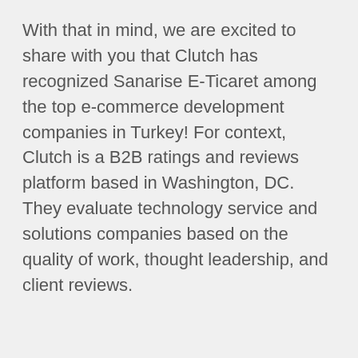With that in mind, we are excited to share with you that Clutch has recognized Sanarise E-Ticaret among the top e-commerce development companies in Turkey! For context, Clutch is a B2B ratings and reviews platform based in Washington, DC. They evaluate technology service and solutions companies based on the quality of work, thought leadership, and client reviews.